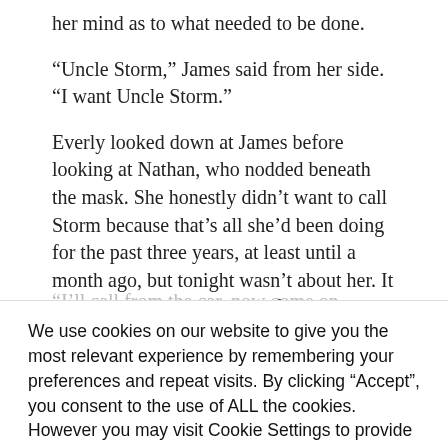her mind as to what needed to be done.
“Uncle Storm,” James said from her side. “I want Uncle Storm.”
Everly looked down at James before looking at Nathan, who nodded beneath the mask. She honestly didn’t want to call Storm because that’s all she’d been doing for the past three years, at least until a month ago, but tonight wasn’t about her. It was about her boys and the fact that, frankly, she needed help.
“I’ll call from the car, now come on, babies. Let’s
We use cookies on our website to give you the most relevant experience by remembering your preferences and repeat visits. By clicking “Accept”, you consent to the use of ALL the cookies. However you may visit Cookie Settings to provide a controlled consent.
Cookie settings
ACCEPT
two boys’ health issues made her heart hurt, but
came first.
Always.